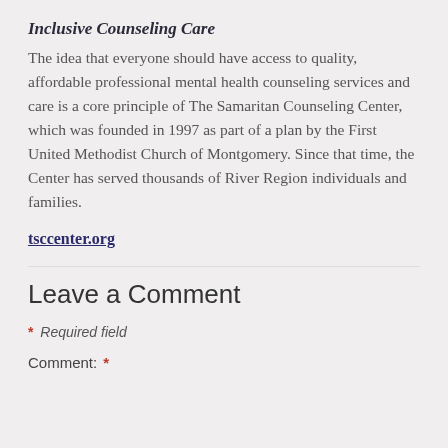Inclusive Counseling Care
The idea that everyone should have access to quality, affordable professional mental health counseling services and care is a core principle of The Samaritan Counseling Center, which was founded in 1997 as part of a plan by the First United Methodist Church of Montgomery. Since that time, the Center has served thousands of River Region individuals and families.
tsccenter.org
Leave a Comment
* Required field
Comment: *